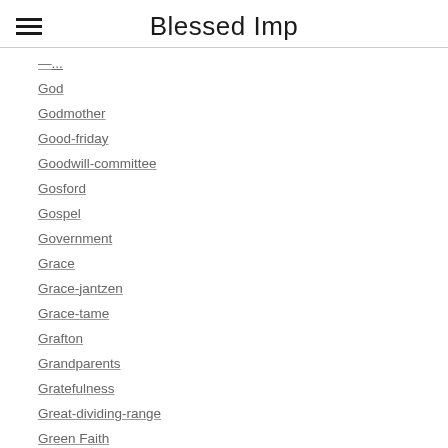Blessed Imp
(truncated item)
God
Godmother
Good-friday
Goodwill-committee
Gosford
Gospel
Government
Grace
Grace-jantzen
Grace-tame
Grafton
Grandparents
Gratefulness
Great-dividing-range
Green Faith
Greening
Grief
Guardian Australia